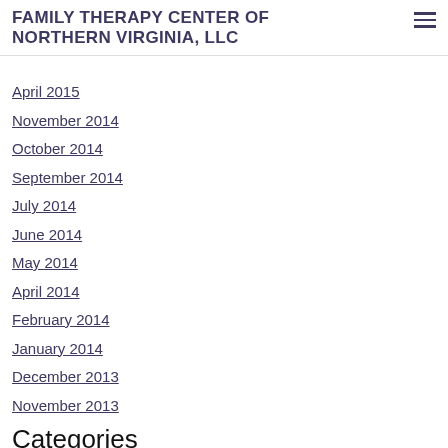FAMILY THERAPY CENTER OF NORTHERN VIRGINIA, LLC
April 2015
November 2014
October 2014
September 2014
July 2014
June 2014
May 2014
April 2014
February 2014
January 2014
December 2013
November 2013
Categories
All
About Or For Children
Author: Chelsey Brooks